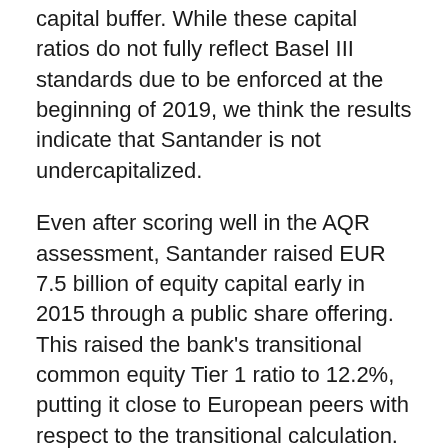capital buffer. While these capital ratios do not fully reflect Basel III standards due to be enforced at the beginning of 2019, we think the results indicate that Santander is not undercapitalized.
Even after scoring well in the AQR assessment, Santander raised EUR 7.5 billion of equity capital early in 2015 through a public share offering. This raised the bank's transitional common equity Tier 1 ratio to 12.2%, putting it close to European peers with respect to the transitional calculation. While this metric requires fewer deductions from common equity compared with the fully loaded measure, it indicates, along with the AQR results, that Santander has sufficient loss-absorbing capital. Even so, we expect the bank will continue to work toward increasing its capital to qualify for the fully loaded calculation.